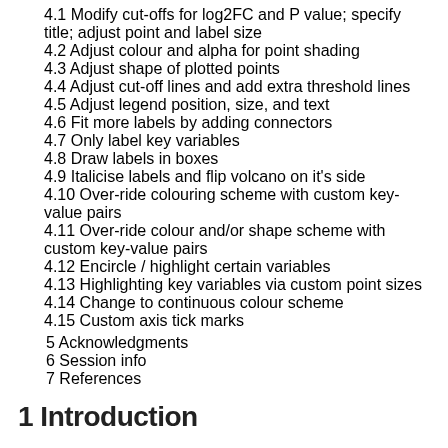4.1 Modify cut-offs for log2FC and P value; specify title; adjust point and label size
4.2 Adjust colour and alpha for point shading
4.3 Adjust shape of plotted points
4.4 Adjust cut-off lines and add extra threshold lines
4.5 Adjust legend position, size, and text
4.6 Fit more labels by adding connectors
4.7 Only label key variables
4.8 Draw labels in boxes
4.9 Italicise labels and flip volcano on it's side
4.10 Over-ride colouring scheme with custom key-value pairs
4.11 Over-ride colour and/or shape scheme with custom key-value pairs
4.12 Encircle / highlight certain variables
4.13 Highlighting key variables via custom point sizes
4.14 Change to continuous colour scheme
4.15 Custom axis tick marks
5 Acknowledgments
6 Session info
7 References
1 Introduction